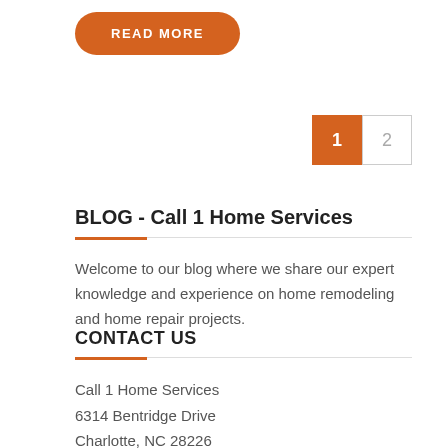READ MORE
1  2
BLOG - Call 1 Home Services
Welcome to our blog where we share our expert knowledge and experience on home remodeling and home repair projects.
CONTACT US
Call 1 Home Services
6314 Bentridge Drive
Charlotte, NC 28226